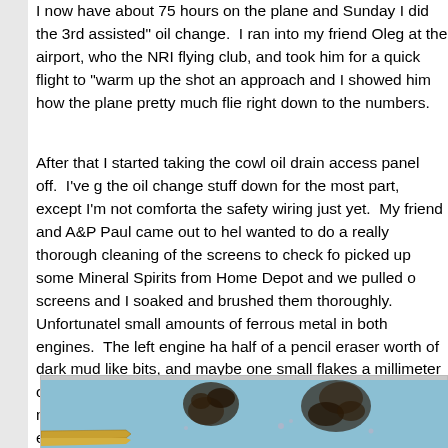I now have about 75 hours on the plane and Sunday I did the 3rd assisted oil change. I ran into my friend Oleg at the airport, who the NRI flying club, and took him for a quick flight to "warm up the shot an approach and I showed him how the plane pretty much flie right down to the numbers.
After that I started taking the cowl oil drain access panel off. I've g the oil change stuff down for the most part, except I'm not comforta the safety wiring just yet. My friend and A&P Paul came out to hel wanted to do a really thorough cleaning of the screens to check fo picked up some Mineral Spirits from Home Depot and we pulled o screens and I soaked and brushed them thoroughly. Unfortunately small amounts of ferrous metal in both engines. The left engine ha half of a pencil eraser worth of dark mud like bits, and maybe one small flakes a millimeter or so long. The right engine had about tw amount with more flakes. We took this photo of the gunk from the engine with a macro lens, which makes it look huge but by referen the tip of a ballpoint pen on the left.
[Figure (photo): Close-up macro photo of metallic debris/gunk on a blue surface, with the tip of a ballpoint pen visible on the left side for scale reference.]